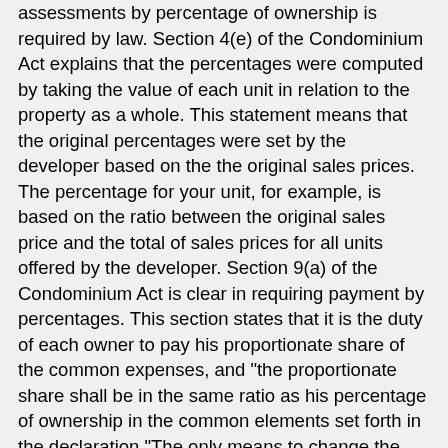assessments by percentage of ownership is required by law. Section 4(e) of the Condominium Act explains that the percentages were computed by taking the value of each unit in relation to the property as a whole. This statement means that the original percentages were set by the developer based on the the original sales prices. The percentage for your unit, for example, is based on the ratio between the original sales price and the total of sales prices for all units offered by the developer. Section 9(a) of the Condominium Act is clear in requiring payment by percentages. This section states that it is the duty of each owner to pay his proportionate share of the common expenses, and "the proportionate share shall be in the same ratio as his percentage of ownership in the common elements set forth in the declaration."The only means to change the percentages of ownership is by unanimous consent of the members as required by Section 4(e), unless the board or the owners can establish that the percentages were not accurately calculated in the first place. Given the age of your building, it is not likely you can establish that the original percentage calculations were incorrect. Your association has been charging assessments in violation of the law, and now